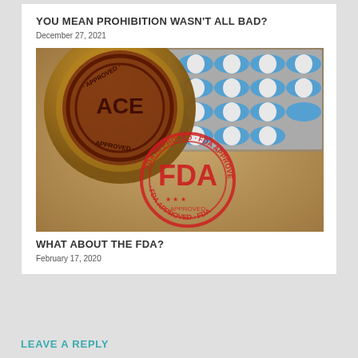YOU MEAN PROHIBITION WASN'T ALL BAD?
December 27, 2021
[Figure (photo): FDA approval stamp and blue-white capsule pills in blister pack on brown paper background]
WHAT ABOUT THE FDA?
February 17, 2020
LEAVE A REPLY